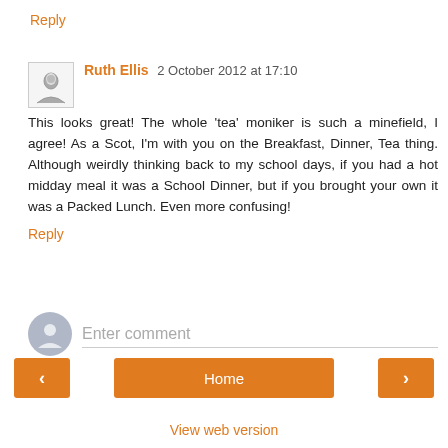Reply
Ruth Ellis  2 October 2012 at 17:10
This looks great! The whole 'tea' moniker is such a minefield, I agree! As a Scot, I'm with you on the Breakfast, Dinner, Tea thing. Although weirdly thinking back to my school days, if you had a hot midday meal it was a School Dinner, but if you brought your own it was a Packed Lunch. Even more confusing!
Reply
Enter comment
Home
View web version